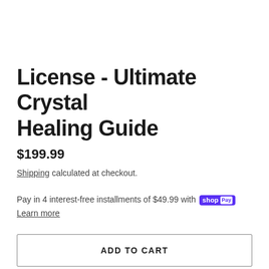License - Ultimate Crystal Healing Guide
$199.99
Shipping calculated at checkout.
Pay in 4 interest-free installments of $49.99 with Shop Pay
Learn more
ADD TO CART